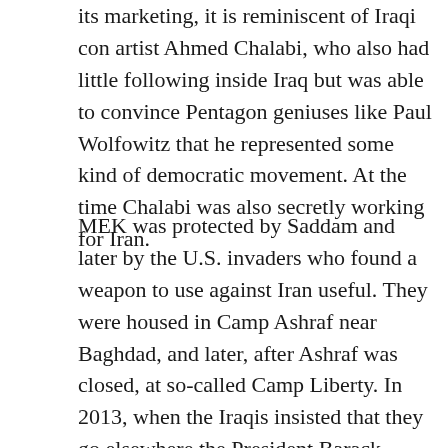its marketing, it is reminiscent of Iraqi con artist Ahmed Chalabi, who also had little following inside Iraq but was able to convince Pentagon geniuses like Paul Wolfowitz that he represented some kind of democratic movement. At the time Chalabi was also secretly working for Iran.
MEK was protected by Saddam and later by the U.S. invaders who found a weapon to use against Iran useful. They were housed in Camp Ashraf near Baghdad, and later, after Ashraf was closed, at so-called Camp Liberty. In 2013, when the Iraqis insisted that they go elsewhere the President Barack Obama facilitated their removal to Albania under the auspices of the United Nations refugee program, with the $20 million dollar bill being footed by Washington. The organization's political arm, the National Council of Resistance or Iran (NCRI), meanwhile established itself in Paris under the control of Maryam Rajavi, in part to place it closer to the American and European sources of its political legitimacy and financing.